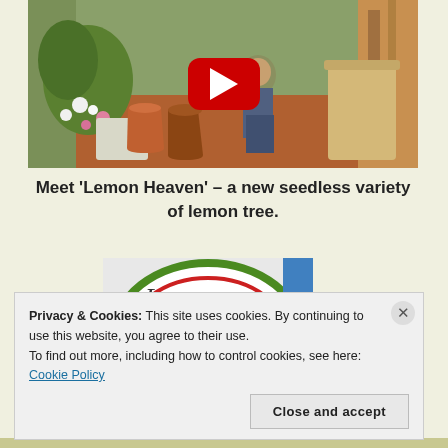[Figure (screenshot): YouTube video thumbnail showing a man kneeling in a garden with potted plants, terracotta pots, and a wooden fence. A red YouTube play button is centered on the image.]
Meet ‘Lemon Heaven’ – a new seedless variety of lemon tree.
[Figure (photo): Partial image of a circular label/sign with green border reading 'Lemon' in cursive script, with a red stripe element visible.]
Privacy & Cookies: This site uses cookies. By continuing to use this website, you agree to their use.
To find out more, including how to control cookies, see here: Cookie Policy
Close and accept